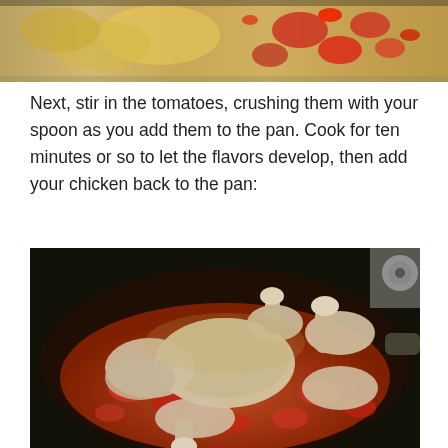[Figure (photo): Top portion of a cooking photo showing tomatoes and other ingredients being cooked in a pan, with red and yellow colors visible]
Next, stir in the tomatoes, crushing them with your spoon as you add them to the pan. Cook for ten minutes or so to let the flavors develop, then add your chicken back to the pan:
[Figure (photo): A dark cast iron or non-stick skillet containing chicken pieces (drumsticks and thighs) cooking in a red tomato sauce with visible crushed tomatoes]